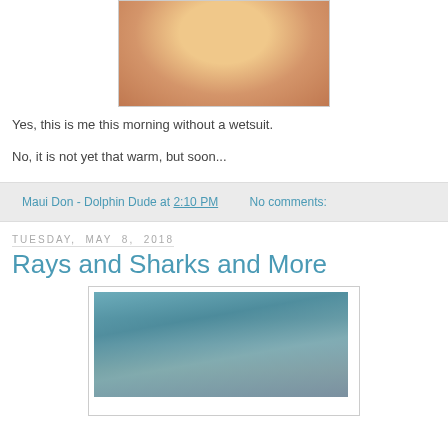[Figure (photo): Underwater photo of a man's face smiling, cropped at top of the page]
Yes, this is me this morning without a wetsuit.
No, it is not yet that warm, but soon...
Maui Don - Dolphin Dude at 2:10 PM    No comments:
Tuesday, May 8, 2018
Rays and Sharks and More
[Figure (photo): Underwater photo showing a snorkeler or diver with blue equipment in turquoise water]